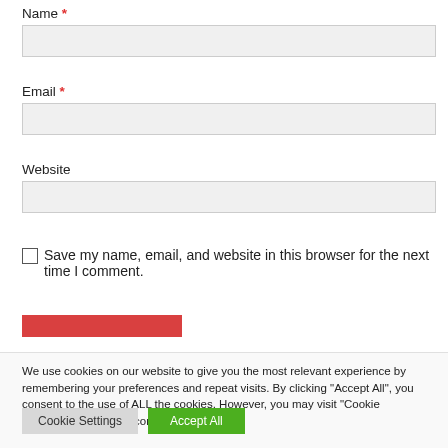Name *
Email *
Website
Save my name, email, and website in this browser for the next time I comment.
We use cookies on our website to give you the most relevant experience by remembering your preferences and repeat visits. By clicking "Accept All", you consent to the use of ALL the cookies. However, you may visit "Cookie Settings" to provide a controlled consent.